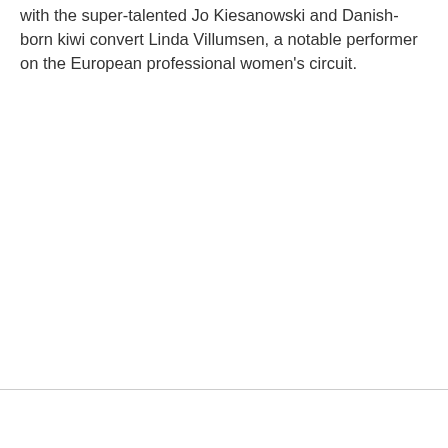with the super-talented Jo Kiesanowski and Danish-born kiwi convert Linda Villumsen, a notable performer on the European professional women's circuit.